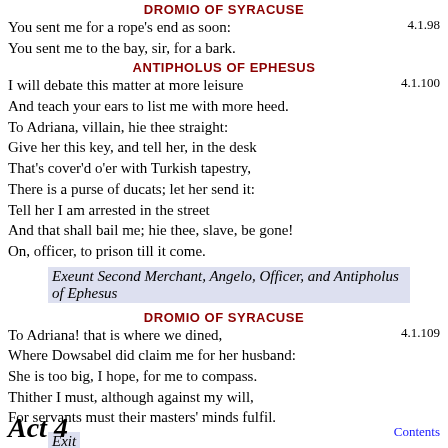DROMIO OF SYRACUSE  4.1.98
You sent me for a rope's end as soon:
You sent me to the bay, sir, for a bark.
ANTIPHOLUS OF EPHESUS  4.1.100
I will debate this matter at more leisure
And teach your ears to list me with more heed.
To Adriana, villain, hie thee straight:
Give her this key, and tell her, in the desk
That's cover'd o'er with Turkish tapestry,
There is a purse of ducats; let her send it:
Tell her I am arrested in the street
And that shall bail me; hie thee, slave, be gone!
On, officer, to prison till it come.
Exeunt Second Merchant, Angelo, Officer, and Antipholus of Ephesus
DROMIO OF SYRACUSE  4.1.109
To Adriana! that is where we dined,
Where Dowsabel did claim me for her husband:
She is too big, I hope, for me to compass.
Thither I must, although against my will,
For servants must their masters' minds fulfil.
Exit
Act 4
Contents